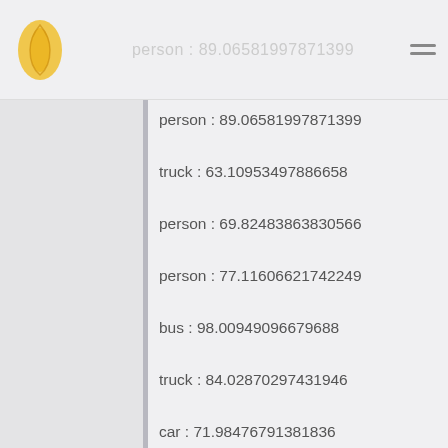header title (faded)
person : 89.06581997871399
truck : 63.10953497886658
person : 69.82483863830566
person : 77.11606621742249
bus : 98.00949096679688
truck : 84.02870297431946
car : 71.98476791381836
[Figure (other): Broken image thumbnail with Thai text label]
Thai script section label
person : 71.10445499420166
person : 59.28672552108765